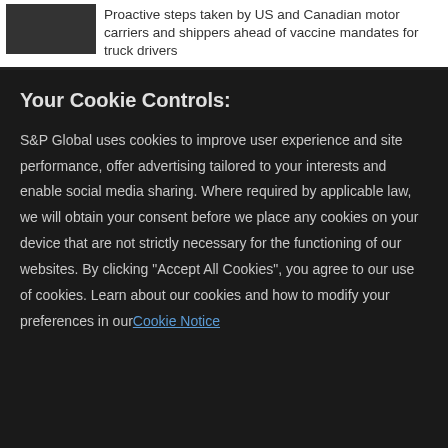[Figure (photo): Small thumbnail image placeholder in dark/grey color on the top left of the page header area]
Proactive steps taken by US and Canadian motor carriers and shippers ahead of vaccine mandates for truck drivers
Your Cookie Controls:
S&P Global uses cookies to improve user experience and site performance, offer advertising tailored to your interests and enable social media sharing. Where required by applicable law, we will obtain your consent before we place any cookies on your device that are not strictly necessary for the functioning of our websites. By clicking "Accept All Cookies", you agree to our use of cookies. Learn about our cookies and how to modify your preferences in our Cookie Notice